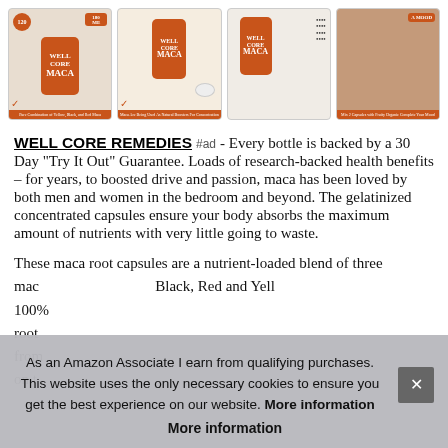[Figure (photo): Four product images of WELL CORE REMEDIES Maca supplement bottles and related imagery arranged in a horizontal row]
WELL CORE REMEDIES #ad - Every bottle is backed by a 30 Day “Try It Out” Guarantee. Loads of research-backed health benefits – for years, to boosted drive and passion, maca has been loved by both men and women in the bedroom and beyond. The gelatinized concentrated capsules ensure your body absorbs the maximum amount of nutrients with very little going to waste.
These maca root capsules are a nutrient-loaded blend of three maca... Black, Red and Yellow... 100%... root... from... on t...
As an Amazon Associate I earn from qualifying purchases. This website uses the only necessary cookies to ensure you get the best experience on our website. More information
More information